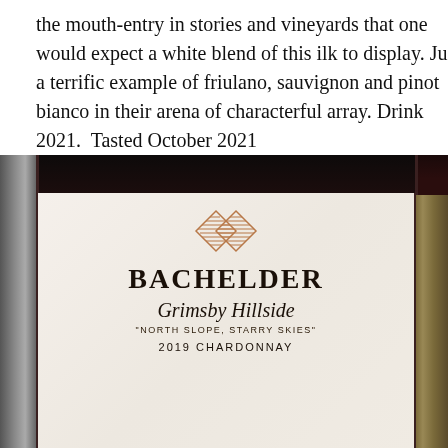the mouth-entry in stories and vineyards that one would expect a white blend of this ilk to display. Just a terrific example of friulano, sauvignon and pinot bianco in their arena of characterful array. Drink 2021.  Tasted October 2021
[Figure (photo): Close-up photo of a Bachelder wine bottle label showing the Bachelder winery name in large serif capitals, a geometric chevron/diamond logo mark in copper/brown above, cursive text reading 'Grimsby Hillside', tagline 'NORTH SLOPE, STARRY SKIES', and partially visible text '2019 CHARDONNAY' at bottom. The label is cream/off-white. Dark bottle visible at top, other bottles visible on sides.]